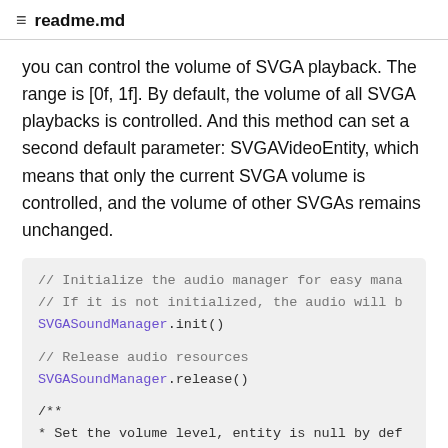readme.md
you can control the volume of SVGA playback. The range is [0f, 1f]. By default, the volume of all SVGA playbacks is controlled. And this method can set a second default parameter: SVGAVideoEntity, which means that only the current SVGA volume is controlled, and the volume of other SVGAs remains unchanged.
// Initialize the audio manager for easy mana
// If it is not initialized, the audio will b
SVGASoundManager.init()

// Release audio resources
SVGASoundManager.release()

/**
* Set the volume level, entity is null by def
* When entity is null, it controls the volume